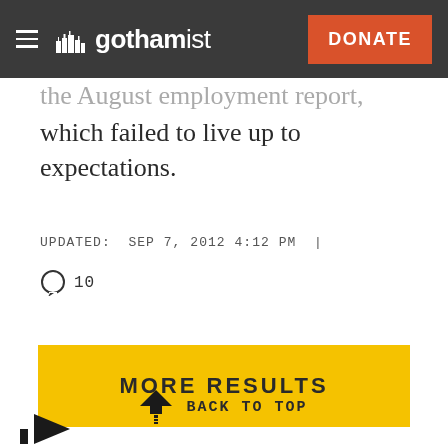gothamist — DONATE
the August employment report, which failed to live up to expectations.
UPDATED: SEP 7, 2012 4:12 PM |
10
MORE RESULTS
BACK TO TOP